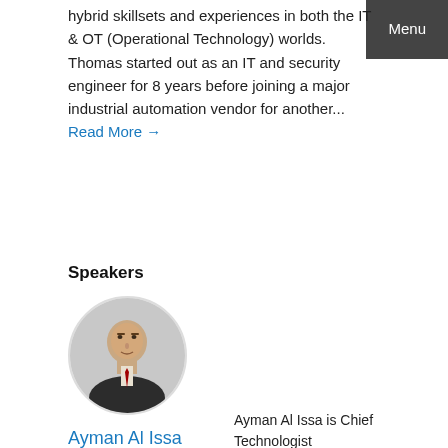hybrid skillsets and experiences in both the IT & OT (Operational Technology) worlds. Thomas started out as an IT and security engineer for 8 years before joining a major industrial automation vendor for another... Read More →
Speakers
[Figure (photo): Circular portrait photo of Ayman Al Issa, a man in a dark suit]
Ayman Al Issa
Chief Technologist | Industrial Cyber Security, Booz Allen Hamilton
Ayman Al Issa is Chief Technologist